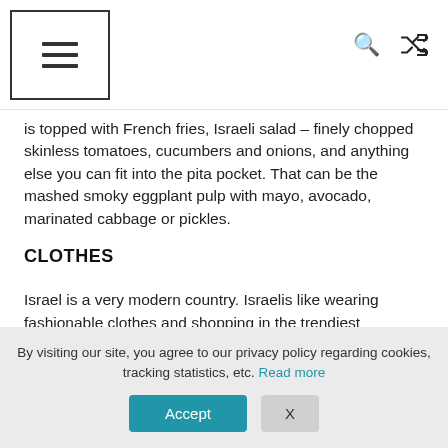Navigation menu icon, search icon, shuffle icon
is topped with French fries, Israeli salad – finely chopped skinless tomatoes, cucumbers and onions, and anything else you can fit into the pita pocket. That can be the mashed smoky eggplant pulp with mayo, avocado, marinated cabbage or pickles.
CLOTHES
Israel is a very modern country. Israelis like wearing fashionable clothes and shopping in the trendiest
By visiting our site, you agree to our privacy policy regarding cookies, tracking statistics, etc. Read more
Accept  X